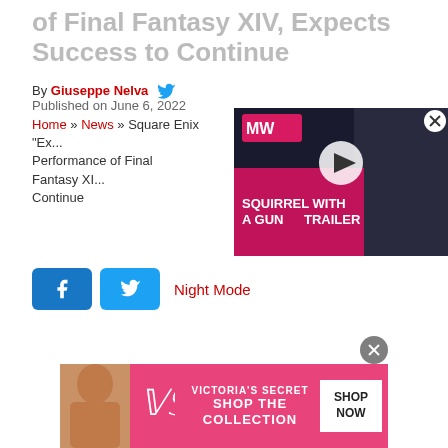of Final Fantasy XIV, Expects Success to Continue
By Giuseppe Nelva
Published on June 6, 2022
Home » News » Square Enix "Ex... Performance of Final Fantasy XI... Continue
[Figure (screenshot): Video player showing 'Squirrel With A Gun Trailer' on a dark background with MW logo and play button overlay]
Night Mode
[Figure (screenshot): Victoria's Secret advertisement banner: 'SHOP THE COLLECTION' with SHOP NOW button, pink background with model]